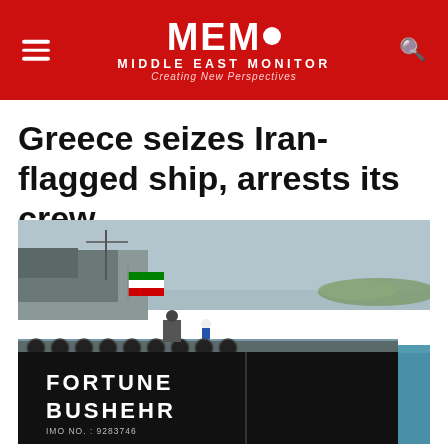MEMO MIDDLE EAST MONITOR Creating New Perspectives
Greece seizes Iran-flagged ship, arrests its crew
[Figure (photo): Photograph of an Iran-flagged oil tanker named FORTUNE BUSHEHR with IMO NO.: 9283746 visible on the hull, with the Iranian flag flying on deck and crew visible, the vessel sits in blue water.]